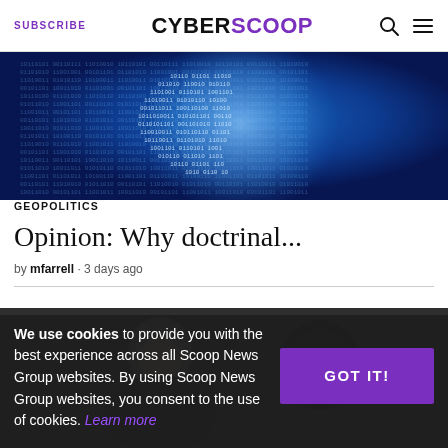SUBSCRIBE | CYBERSCOOP
[Figure (photo): Blue digital binary code pattern forming a globe/shield shape on dark blue background]
GEOPOLITICS
Opinion: Why doctrinal...
by mfarrell · 3 days ago
[Figure (photo): Two men with grey hair photographed indoors with ornate background]
We use cookies to provide you with the best experience across all Scoop News Group websites. By using Scoop News Group websites, you consent to the use of cookies. Learn more